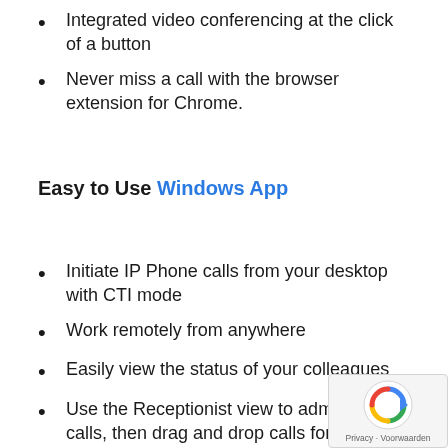Integrated video conferencing at the click of a button
Never miss a call with the browser extension for Chrome.
Easy to Use Windows App
Initiate IP Phone calls from your desktop with CTI mode
Work remotely from anywhere
Easily view the status of your colleagues
Use the Receptionist view to administer calls, then drag and drop calls for a swift call transfer
Launch calls directly from your CRM; integrates seamlessly with MS Exchange, Microsoft Outlook or Internal Phonebook
Automatically obtain reports on customer and agent